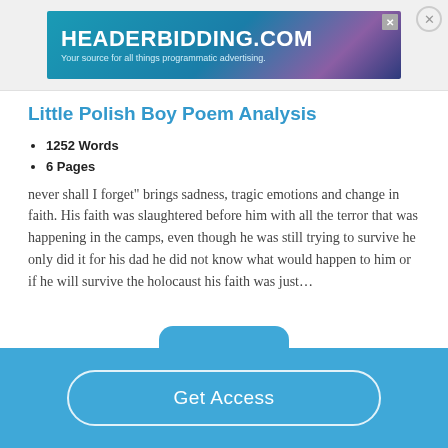[Figure (other): Advertisement banner for HeaderBidding.com with teal-to-purple gradient background and text 'Your source for all things programmatic advertising.']
Little Polish Boy Poem Analysis
1252 Words
6 Pages
never shall I forget" brings sadness, tragic emotions and change in faith. His faith was slaughtered before him with all the terror that was happening in the camps, even though he was still trying to survive he only did it for his dad he did not know what would happen to him or if he will survive the holocaust his faith was just…
Get Access